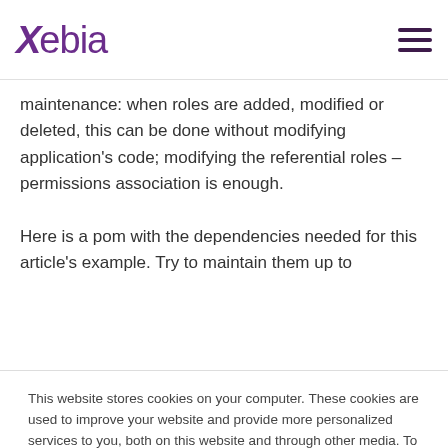Xebia
maintenance: when roles are added, modified or deleted, this can be done without modifying application's code; modifying the referential roles – permissions association is enough.
Here is a pom with the dependencies needed for this article's example. Try to maintain them up to
This website stores cookies on your computer. These cookies are used to improve your website and provide more personalized services to you, both on this website and through other media. To find out more about the cookies we use, see our Privacy Policy.

We won't track your information when you decline. But in order to comply with your preferences, we'll have to use just one tiny cookie so that you're not asked to make this choice again.